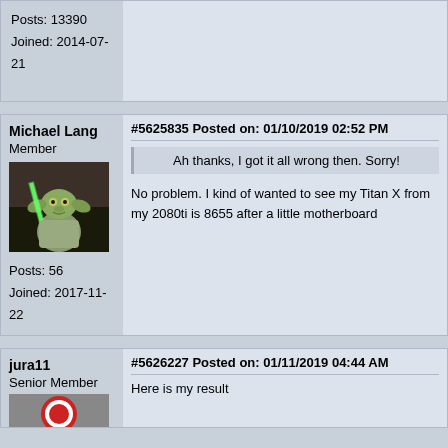Posts: 13390
Joined: 2014-07-21
Michael Lang
Member
#5625835 Posted on: 01/10/2019 02:52 PM
Ah thanks, I got it all wrong then. Sorry!
[Figure (photo): Avatar image of Yoda from Star Wars holding a green lightsaber]
Posts: 56
Joined: 2017-11-22
No problem. I kind of wanted to see my Titan X from my 2080ti is 8655 after a little motherboard
jura11
Senior Member
#5626227 Posted on: 01/11/2019 04:44 AM
Here is my result